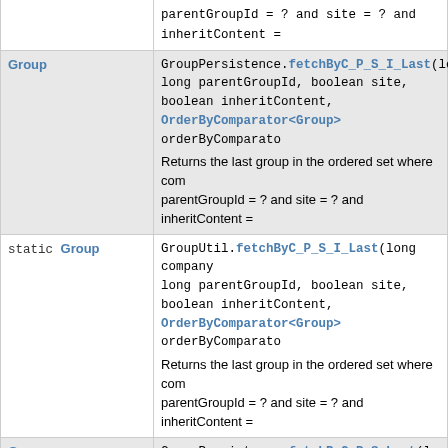| Type | Method and Description |
| --- | --- |
| Group | GroupPersistence.fetchByC_P_S_I_Last(long long parentGroupId, boolean site, boolean inheritContent, OrderByComparator<Group> orderByComparator)
Returns the last group in the ordered set where companyId = ? and parentGroupId = ? and site = ? and inheritContent = |
| static Group | GroupUtil.fetchByC_P_S_I_Last(long companyId, long parentGroupId, boolean site, boolean inheritContent, OrderByComparator<Group> orderByComparator)
Returns the last group in the ordered set where companyId = ? and parentGroupId = ? and site = ? and inheritContent = |
| Group | GroupPersistence.fetchByC_P_S_Last(long co long parentGroupId, boolean site, OrderByComparator<Group> orderByComparator)
Returns the last group in the ordered set where companyId = ? and parentGroupId = ? and site = ?. |
| static Group | GroupUtil.fetchByC_P_S_Last(long companyId, long parentGroupId, boolean site, OrderByComparator<Group> orderByComparator)
Returns the last group in the ordered set where companyId = ? and parentGroupId = ? and site = ?. |
| Group | GroupPersistence.fetchByC_S_First(long com boolean site, OrderByComparator<Group> orderByComparator)
Returns the first group in the ordered set where companyId = ? and site = ?. |